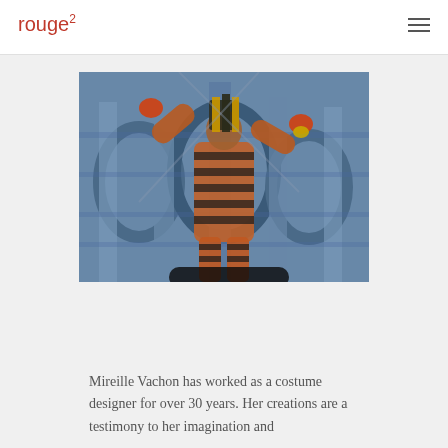rouge²
[Figure (photo): A performer in striped orange-black costume and Egyptian-style headdress with arms raised, set against a backdrop of a grand colosseum or ancient stone arcade architecture, double-exposure style photograph.]
Mireille Vachon has worked as a costume designer for over 30 years. Her creations are a testimony to her imagination and